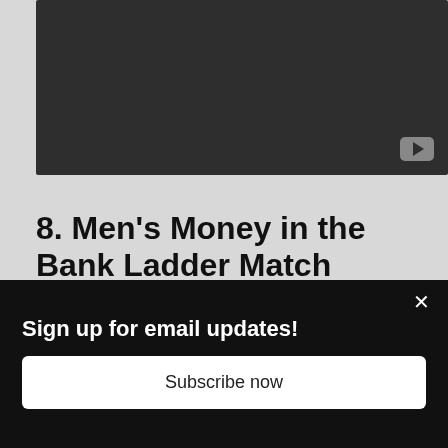[Figure (screenshot): Dark video player thumbnail with YouTube icon in bottom-right corner]
8. Men's Money in the Bank Ladder Match (Money in the Bank)
Despite a questionable winner, this match did deliver. We got
Sign up for email updates!
Subscribe now